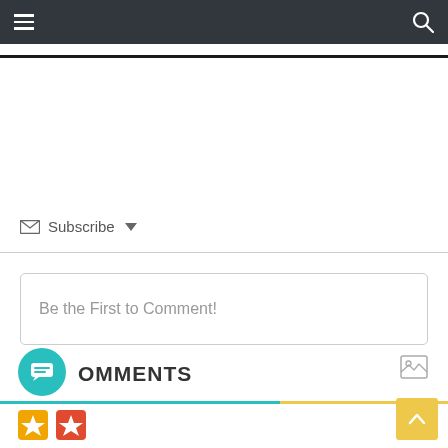Navigation bar with hamburger menu and search icon
Subscribe ▾
Be the First to Comment!
COMMENTS